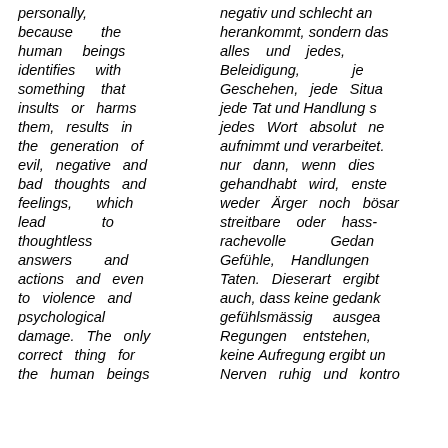personally, because the human beings identifies with something that insults or harms them, results in the generation of evil, negative and bad thoughts and feelings, which lead to thoughtless answers and actions and even to violence and psychological damage. The only correct thing for the human beings
negativ und schlecht an herankommt, sondern das alles und jedes, Beleidigung, je Geschehen, jede Situa jede Tat und Handlung s jedes Wort absolut ne aufnimmt und verarbeitet. nur dann, wenn dies gehandhabt wird, enste weder Ärger noch bösar streitbare oder hass- rachevolle Gedan Gefühle, Handlungen Taten. Dieserart ergibt auch, dass keine gedank gefühlsmässig ausgea Regungen entstehen, keine Aufregung ergibt un Nerven ruhig und kontro